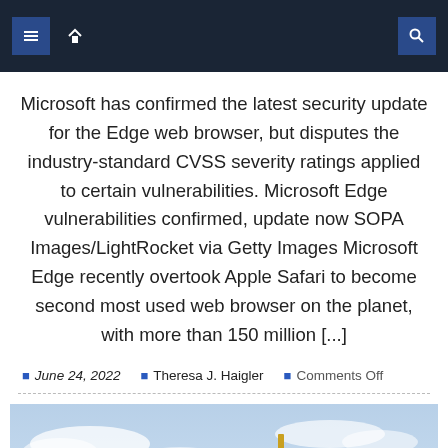Navigation bar with menu icons and search
Microsoft has confirmed the latest security update for the Edge web browser, but disputes the industry-standard CVSS severity ratings applied to certain vulnerabilities. Microsoft Edge vulnerabilities confirmed, update now SOPA Images/LightRocket via Getty Images Microsoft Edge recently overtook Apple Safari to become second most used web browser on the planet, with more than 150 million [...]
June 24, 2022  Theresa J. Haigler  Comments Off
[Figure (photo): Photo of a gold Lady Justice statue holding scales and sword against a blue sky background]